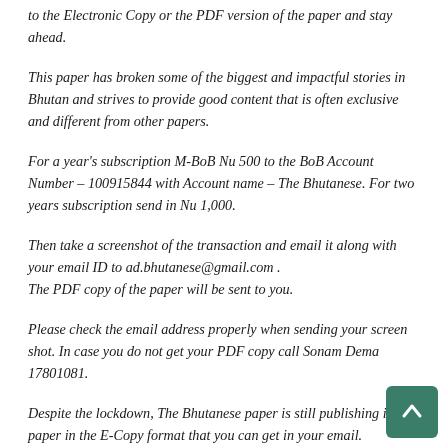to the Electronic Copy or the PDF version of the paper and stay ahead.
This paper has broken some of the biggest and impactful stories in Bhutan and strives to provide good content that is often exclusive and different from other papers.
For a year's subscription M-BoB Nu 500 to the BoB Account Number – 100915844 with Account name – The Bhutanese. For two years subscription send in Nu 1,000.
Then take a screenshot of the transaction and email it along with your email ID to ad.bhutanese@gmail.com . The PDF copy of the paper will be sent to you.
Please check the email address properly when sending your screen shot. In case you do not get your PDF copy call Sonam Dema 17801081.
Despite the lockdown, The Bhutanese paper is still publishing its paper in the E-Copy format that you can get in your email.